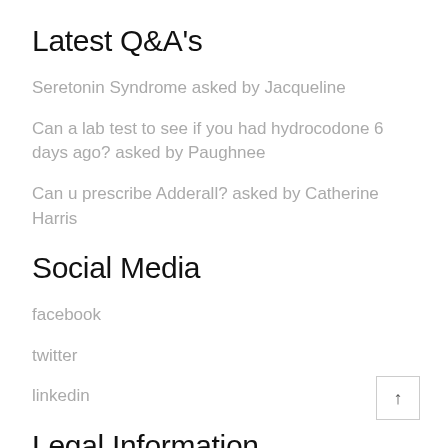Latest Q&A's
Seretonin Syndrome asked by Jacqueline
Can a lab test to see if you had hydrocodone 6 days ago? asked by Paughnee
Can u prescribe Adderall? asked by Catherine Harris
Social Media
facebook
twitter
linkedin
Legal Information
Privacy Policy